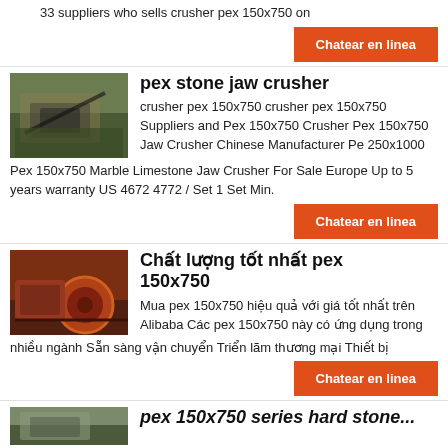33 suppliers who sells crusher pex 150x750 on
Chatear en linea
[Figure (photo): Jaw crusher machine in outdoor quarry setting with trees in background]
pex stone jaw crusher
crusher pex 150x750 crusher pex 150x750 Suppliers and Pex 150x750 Crusher Pex 150x750 Jaw Crusher Chinese Manufacturer Pe 250x1000 Pex 150x750 Marble Limestone Jaw Crusher For Sale Europe Up to 5 years warranty US 4672 4772 / Set 1 Set Min.
Chatear en linea
[Figure (photo): Industrial red mining/crushing machine equipment]
Chất lượng tốt nhất pex 150x750
Mua pex 150x750 hiệu quả với giá tốt nhất trên Alibaba Các pex 150x750 này có ứng dụng trong nhiều ngành Sẵn sàng vận chuyển Triển lãm thương mại Thiết bị
Chatear en linea
[Figure (photo): Outdoor stone crusher machine partial view at bottom]
pex 150x750 series hard stone...